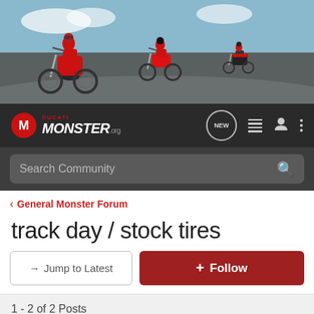[Figure (photo): Hero banner showing three Ducati Monster motorcycles on a race track, riders in red and black gear]
DUCATI MONSTER.org — navigation bar with NEW, list, user, and menu icons, plus Search Community bar
< General Monster Forum
track day / stock tires
→ Jump to Latest
+ Follow
1 - 2 of 2 Posts
mwb · Registered
Joined Feb 16, 2005 · 3,363 Posts